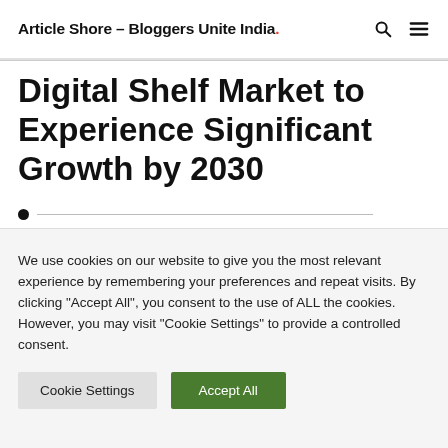Article Shore – Bloggers Unite India.
Digital Shelf Market to Experience Significant Growth by 2030
We use cookies on our website to give you the most relevant experience by remembering your preferences and repeat visits. By clicking "Accept All", you consent to the use of ALL the cookies. However, you may visit "Cookie Settings" to provide a controlled consent.